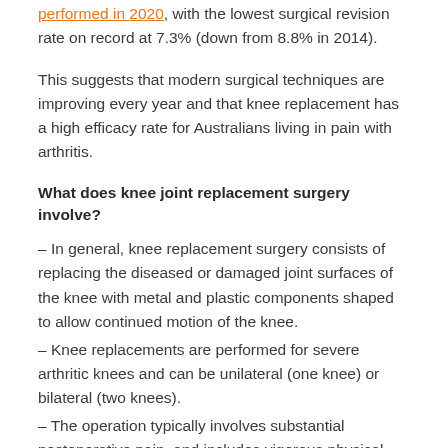performed in 2020, with the lowest surgical revision rate on record at 7.3% (down from 8.8% in 2014).
This suggests that modern surgical techniques are improving every year and that knee replacement has a high efficacy rate for Australians living in pain with arthritis.
What does knee joint replacement surgery involve?
– In general, knee replacement surgery consists of replacing the diseased or damaged joint surfaces of the knee with metal and plastic components shaped to allow continued motion of the knee.
– Knee replacements are performed for severe arthritic knees and can be unilateral (one knee) or bilateral (two knees).
– The operation typically involves substantial postoperative pain, and includes vigorous physical